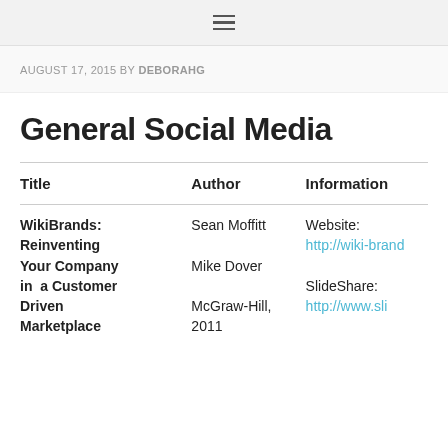≡
AUGUST 17, 2015 BY DEBORAHG
General Social Media
| Title | Author | Information |
| --- | --- | --- |
| WikiBrands: Reinventing Your Company in a Customer Driven Marketplace | Sean Moffitt
Mike Dover
McGraw-Hill, 2011 | Website: http://wiki-brand...
SlideShare: http://www.sli... |